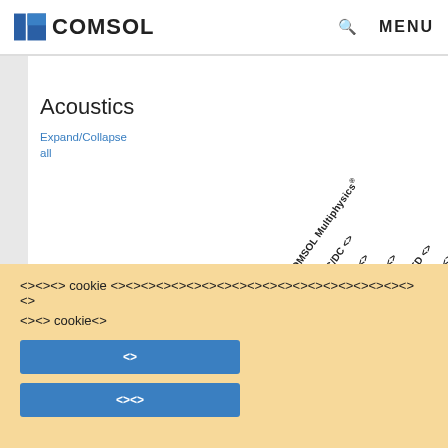COMSOL   🔍   MENU
Acoustics
Expand/Collapse all
|  | COMSOL Multiphysics® | AC/DC ?? | ???? | ???? | CFD ?? | ?????? | ?????? | ?????? | MEMS ?? | ?? ?? | ?????? | ?? ?? |
| --- | --- | --- | --- | --- | --- | --- | --- | --- | --- | --- | --- | --- |
| Select any check box to highlight individual products: |  |  |  |  |  |  |  |  |  |  |  |  |
????? cookie ???????????????????????????????? ???? cookie?
??
????